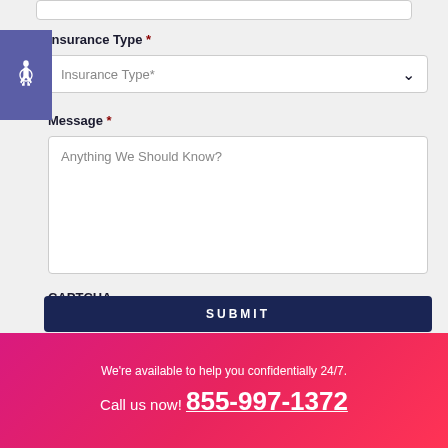Insurance Type *
Insurance Type*
Message *
Anything We Should Know?
CAPTCHA
SUBMIT
We're available to help you confidentially 24/7.
Call us now! 855-997-1372